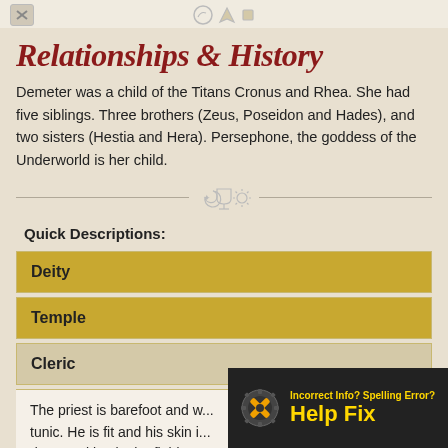Relationships & History
Demeter was a child of the Titans Cronus and Rhea. She had five siblings. Three brothers (Zeus, Poseidon and Hades), and two sisters (Hestia and Hera). Persephone, the goddess of the Underworld is her child.
Quick Descriptions:
Deity
Temple
Cleric
The priest is barefoot and w... tunic. He is fit and his skin i... days working in the field.
[Figure (infographic): Help Fix overlay with wrench icon: 'Incorrect Info? Spelling Error? Help Fix']